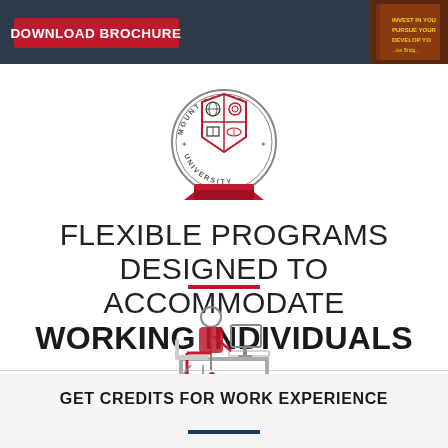[Figure (screenshot): Dark navy banner with red 'DOWNLOAD BROCHURE' button and partial book cover image on right]
[Figure (logo): Mount Bridge University circular seal/crest with red ribbon and shield quadrants]
FLEXIBLE PROGRAMS DESIGNED TO ACCOMMODATE WORKING INDIVIDUALS
[Figure (illustration): Icon of a person sitting at a desk/computer, drawn in red and grey outline style]
GET CREDITS FOR WORK EXPERIENCE